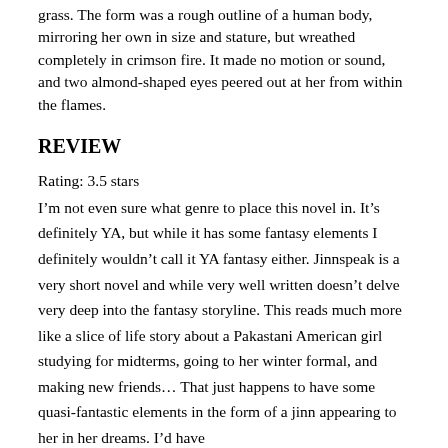grass.  The form was a rough outline of a human body, mirroring her own in size and stature, but wreathed completely in crimson fire.  It made no motion or sound, and two almond-shaped eyes peered out at her from within the flames.
REVIEW
Rating: 3.5 stars
I’m not even sure what genre to place this novel in. It’s definitely YA, but while it has some fantasy elements I definitely wouldn’t call it YA fantasy either. Jinnspeak is a very short novel and while very well written doesn’t delve very deep into the fantasy storyline. This reads much more like a slice of life story about a Pakastani American girl studying for midterms, going to her winter formal, and making new friends… That just happens to have some quasi-fantastic elements in the form of a jinn appearing to her in her dreams. I’d have